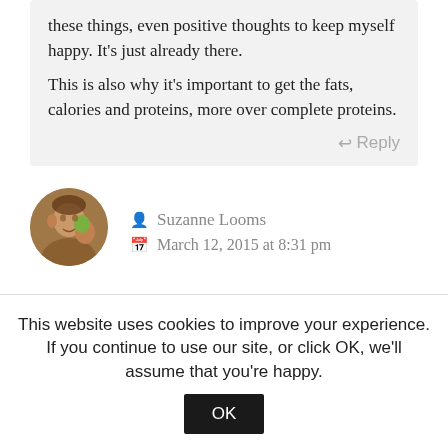these things, even positive thoughts to keep myself happy. It's just already there.

This is also why it's important to get the fats, calories and proteins, more over complete proteins.
Reply
[Figure (photo): Circular avatar photo of a man holding something green]
Suzanne Looms
March 12, 2015 at 8:31 pm
This website uses cookies to improve your experience. If you continue to use our site, or click OK, we'll assume that you're happy.